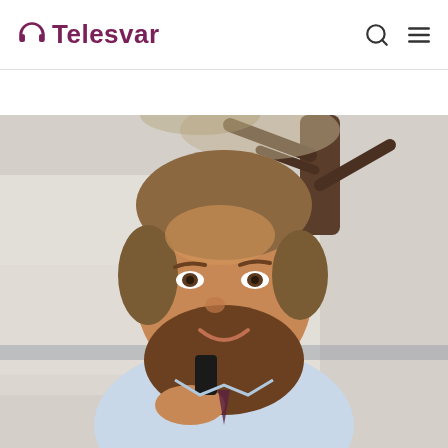Telesvar
[Figure (photo): A smiling bearded man holding a smartphone to his ear, photographed outdoors with trees and a building in the blurred background. He is wearing a light blue shirt and tie.]